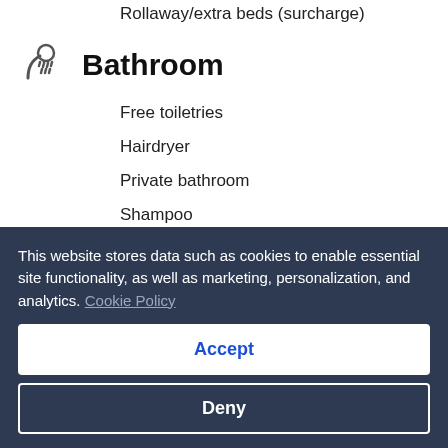Rollaway/extra beds (surcharge)
Bathroom
Free toiletries
Hairdryer
Private bathroom
Shampoo
Shower
Soap
Toilet paper
Towels
This website stores data such as cookies to enable essential site functionality, as well as marketing, personalization, and analytics. Cookie Policy
Accept
Deny